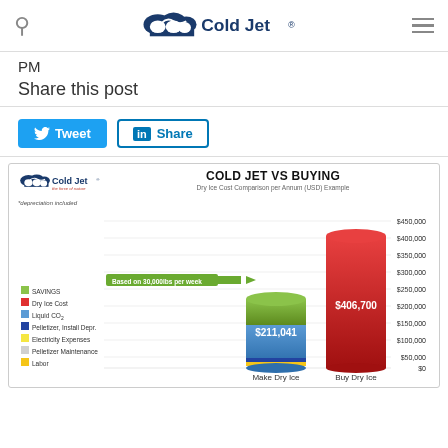Cold Jet logo, search icon, hamburger menu
PM
Share this post
[Figure (infographic): Tweet and LinkedIn Share social sharing buttons]
[Figure (bar-chart): COLD JET VS BUYING]